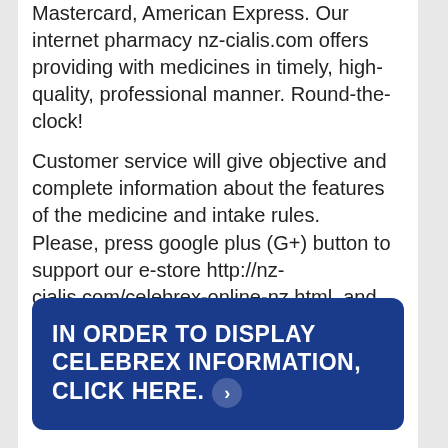Mastercard, American Express. Our internet pharmacy nz-cialis.com offers providing with medicines in timely, high-quality, professional manner. Round-the-clock!
Customer service will give objective and complete information about the features of the medicine and intake rules.
Please, press google plus (G+) button to support our e-store http://nz-cialis.com/celebrex-online-nz.html, and you'll get a discount for the purchase of Celebrex at that.
If you recommend our website nz-cialis.com to your friends in New Zealand or other countries, you'll also get an extra discount for Celebrex.
IN ORDER TO DISPLAY CELEBREX INFORMATION, CLICK HERE.